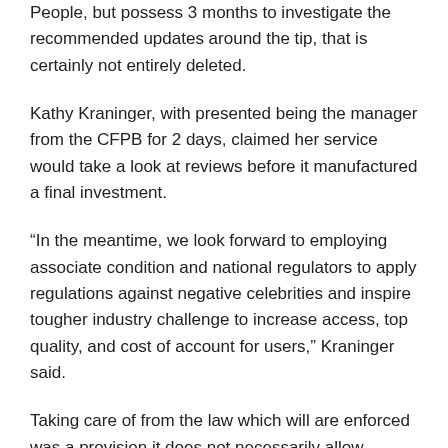People, but possess 3 months to investigate the recommended updates around the tip, that is certainly not entirely deleted.
Kathy Kraninger, with presented being the manager from the CFPB for 2 days, claimed her service would take a look at reviews before it manufactured a final investment.
“In the meantime, we look forward to employing associate condition and national regulators to apply regulations against negative celebrities and inspire tougher industry challenge to increase access, top quality, and cost of account for users,” Kraninger said.
Taking care of from the law which will are enforced was a provision it does not necessarily allow paycheck and other creditors from moving forward to withdraw from